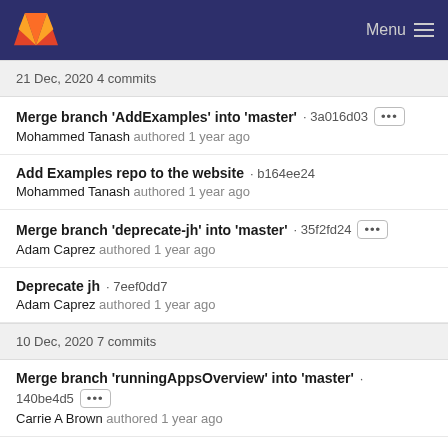GitLab Menu
21 Dec, 2020 4 commits
Merge branch 'AddExamples' into 'master' · 3a016d03
Mohammed Tanash authored 1 year ago
Add Examples repo to the website · b164ee24
Mohammed Tanash authored 1 year ago
Merge branch 'deprecate-jh' into 'master' · 35f2fd24
Adam Caprez authored 1 year ago
Deprecate jh · 7eef0dd7
Adam Caprez authored 1 year ago
10 Dec, 2020 7 commits
Merge branch 'runningAppsOverview' into 'master' · 140be4d5
Carrie A Brown authored 1 year ago